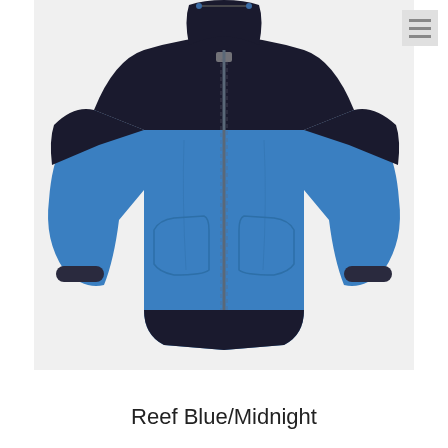[Figure (photo): A blue and black zip-up jacket (windbreaker/anorak style) displayed on a plain light grey background. The jacket body is royal blue with a dark navy/black yoke across the shoulders and hood area. It has a center front zipper, two side pockets, elasticated cuffs, and a curved hem with a dark navy/black band at the bottom. A small drawstring hangs from the hood at the top.]
Reef Blue/Midnight